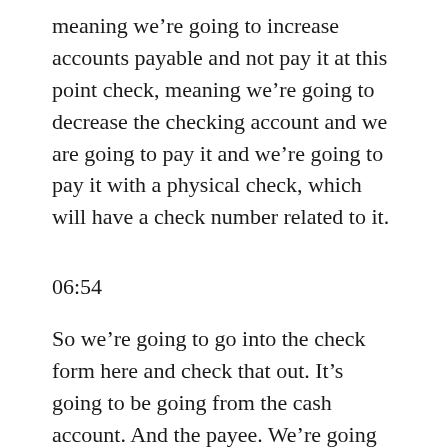meaning we're going to increase accounts payable and not pay it at this point check, meaning we're going to decrease the checking account and we are going to pay it and we're going to pay it with a physical check, which will have a check number related to it.
06:54
So we're going to go into the check form here and check that out. It's going to be going from the cash account. And the payee. We're going to say is Epiphone so I'm going to type in Epiphone Epiphone and notice what it does